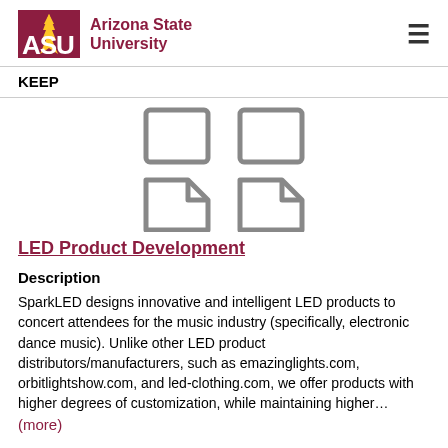ASU Arizona State University
KEEP
[Figure (illustration): Four document/page icons arranged in a 2x2 grid: top two are square document placeholders, bottom two are document icons with folded corners]
LED Product Development
Description
SparkLED designs innovative and intelligent LED products to concert attendees for the music industry (specifically, electronic dance music). Unlike other LED product distributors/manufacturers, such as emazinglights.com, orbitlightshow.com, and led-clothing.com, we offer products with higher degrees of customization, while maintaining higher…
(more)